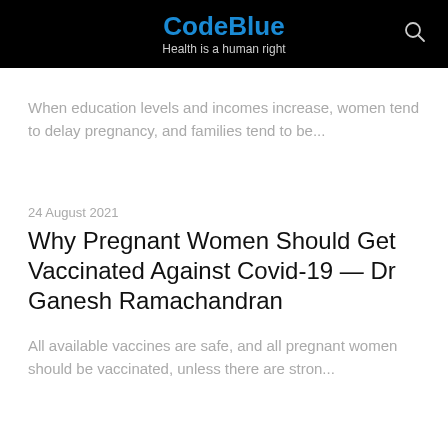CodeBlue
Health is a human right
When education levels and incomes increase, women tend to delay pregnancy, and families tend to be...
24 August 2021
Why Pregnant Women Should Get Vaccinated Against Covid-19 — Dr Ganesh Ramachandran
All available vaccines are safe, and all pregnant women should be vaccinated, unless there are stron...